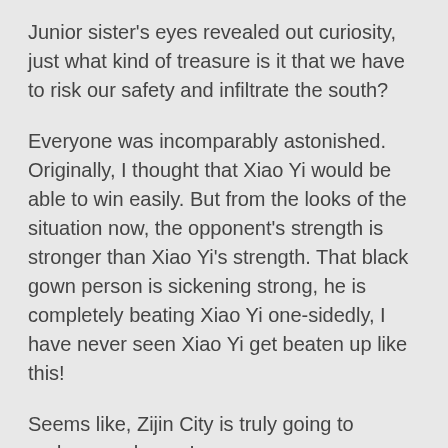Junior sister's eyes revealed out curiosity, just what kind of treasure is it that we have to risk our safety and infiltrate the south?
Everyone was incomparably astonished. Originally, I thought that Xiao Yi would be able to win easily. But from the looks of the situation now, the opponent's strength is stronger than Xiao Yi's strength. That black gown person is sickening strong, he is completely beating Xiao Yi one-sidedly, I have never seen Xiao Yi get beaten up like this!
Seems like, Zijin City is truly going to undergo a change!